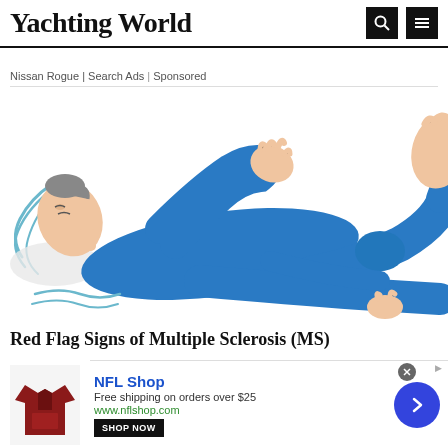Yachting World
Nissan Rogue | Search Ads | Sponsored
[Figure (illustration): Illustration of a person in a blue outfit lying on their back with limbs raised, suggesting muscle spasm or seizure, on a white background]
Red Flag Signs of Multiple Sclerosis (MS)
[Figure (infographic): NFL Shop advertisement banner: red jersey image, NFL Shop brand name in blue, 'Free shipping on orders over $25', www.nflshop.com, SHOP NOW button, blue circle arrow button, close X button]